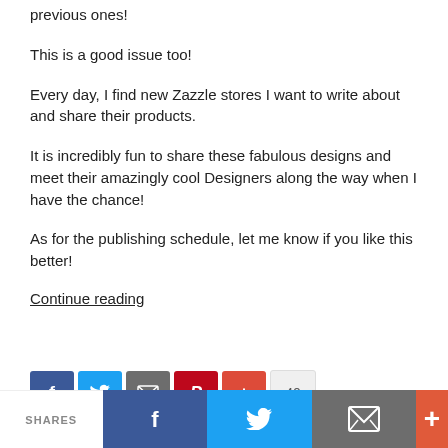previous ones!
This is a good issue too!
Every day, I find new Zazzle stores I want to write about and share their products.
It is incredibly fun to share these fabulous designs and meet their amazingly cool Designers along the way when I have the chance!
As for the publishing schedule, let me know if you like this better!
Continue reading
[Figure (other): Social sharing icons row: Facebook, Twitter, Email, Pinterest, Google Plus, and share count of 40]
SHARES | Facebook | Twitter | Email | +